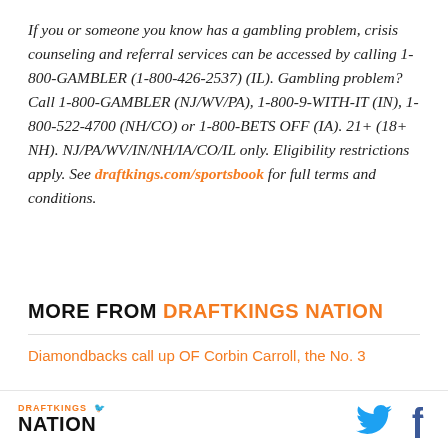If you or someone you know has a gambling problem, crisis counseling and referral services can be accessed by calling 1-800-GAMBLER (1-800-426-2537) (IL). Gambling problem? Call 1-800-GAMBLER (NJ/WV/PA), 1-800-9-WITH-IT (IN), 1-800-522-4700 (NH/CO) or 1-800-BETS OFF (IA). 21+ (18+ NH). NJ/PA/WV/IN/NH/IA/CO/IL only. Eligibility restrictions apply. See draftkings.com/sportsbook for full terms and conditions.
MORE FROM DRAFTKINGS NATION
Diamondbacks call up OF Corbin Carroll, the No. 3
DRAFTKINGS NATION